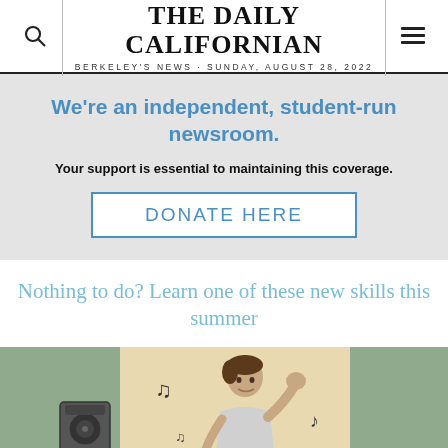THE DAILY CALIFORNIAN
BERKELEY'S NEWS · SUNDAY, AUGUST 28, 2022
We're an independent, student-run newsroom.
Your support is essential to maintaining this coverage.
DONATE HERE
Nothing to do? Learn one of these new skills this summer
[Figure (illustration): Illustration of a person dancing with raised fist, music notes floating around, a speaker/radio visible on the left, inside a room with green curtains or walls]